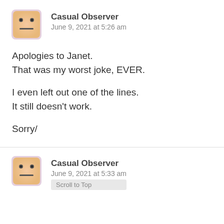[Figure (illustration): Avatar icon of a cartoon face (square, orange/tan colored with simple dot eyes and flat mouth line) for user Casual Observer]
Casual Observer
June 9, 2021 at 5:26 am
Apologies to Janet.
That was my worst joke, EVER.

I even left out one of the lines.
It still doesn't work.

Sorry/
[Figure (illustration): Avatar icon of a cartoon face (square, orange/tan colored with simple dot eyes and flat mouth line) for user Casual Observer]
Casual Observer
June 9, 2021 at 5:33 am
Scroll to Top